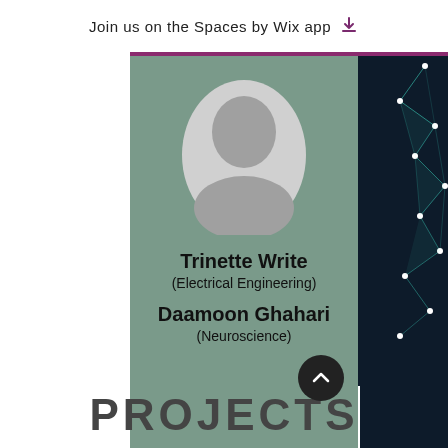Join us on the Spaces by Wix app ↓
[Figure (photo): Default user profile avatar silhouette on sage green card background]
Trinette Write
(Electrical Engineering)
Daamoon Ghahari
(Neuroscience)
[Figure (illustration): Dark background with teal network/constellation graph lines and nodes on the right side]
PROJECTS